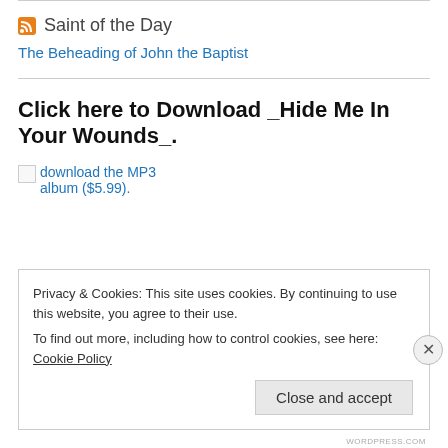Saint of the Day
The Beheading of John the Baptist
Click here to Download _Hide Me In Your Wounds_.
download the MP3 album ($5.99).
Privacy & Cookies: This site uses cookies. By continuing to use this website, you agree to their use.
To find out more, including how to control cookies, see here: Cookie Policy
Close and accept